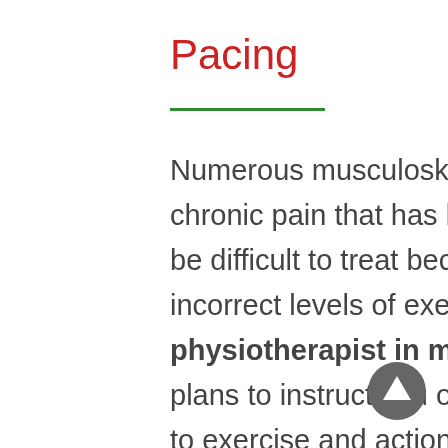Pacing
Numerous musculoskeletal issues and in particular chronic pain that has been present for a long time can be difficult to treat because of poor expectations and incorrect levels of exercise. We are the Best physiotherapist in medavakkam & OMR, Chennai plans to instruct you on the right dimension with respect to exercise and action to benefit as much as possible from your recuperation